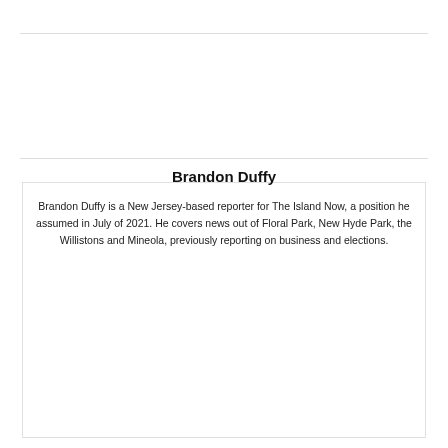Brandon Duffy
Brandon Duffy is a New Jersey-based reporter for The Island Now, a position he assumed in July of 2021. He covers news out of Floral Park, New Hyde Park, the Willistons and Mineola, previously reporting on business and elections.